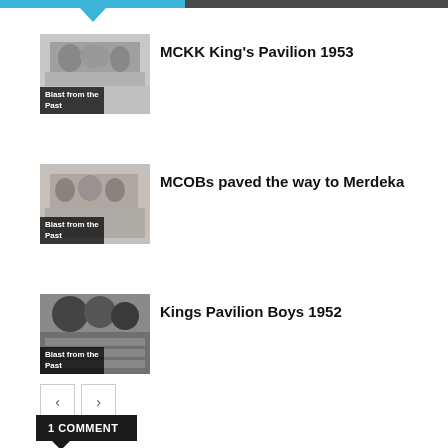[Figure (other): Top navigation bar with blue and dark segments and downward arrow]
[Figure (photo): Black and white group photo - MCKK King's Pavilion 1953 with label 'Blast from the Past']
MCKK King's Pavilion 1953
[Figure (photo): Black and white group photo - MCOBs paved the way to Merdeka with label 'Blast from the Past']
MCOBs paved the way to Merdeka
[Figure (photo): Black and white group photo - Kings Pavilion Boys 1952 with label 'Blast from the Past']
Kings Pavilion Boys 1952
[Figure (other): Pagination navigation buttons: left arrow and right arrow]
1 COMMENT
Mahmood Razak